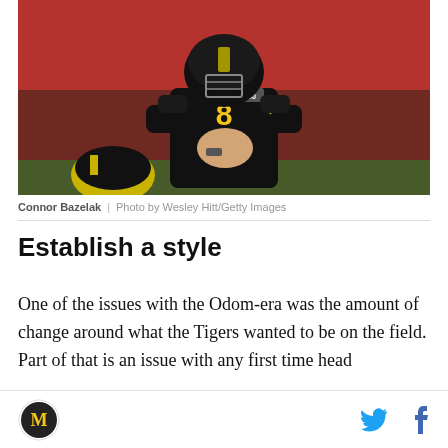[Figure (photo): Connor Bazelak, Missouri Tigers quarterback wearing black #8 jersey with SEC and 150 anniversary patches, crouching at the line of scrimmage with hands clasped, football helmet visible in background, crowd in background]
Connor Bazelak  |  Photo by Wesley Hitt/Getty Images
Establish a style
One of the issues with the Odom-era was the amount of change around what the Tigers wanted to be on the field. Part of that is an issue with any first time head